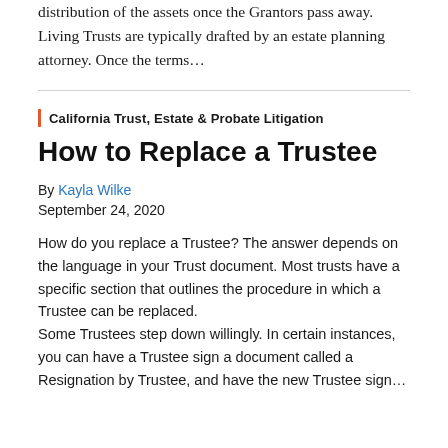distribution of the assets once the Grantors pass away. Living Trusts are typically drafted by an estate planning attorney. Once the terms…
California Trust, Estate & Probate Litigation
How to Replace a Trustee
By Kayla Wilke
September 24, 2020
How do you replace a Trustee? The answer depends on the language in your Trust document. Most trusts have a specific section that outlines the procedure in which a Trustee can be replaced.
Some Trustees step down willingly. In certain instances, you can have a Trustee sign a document called a Resignation by Trustee, and have the new Trustee sign…